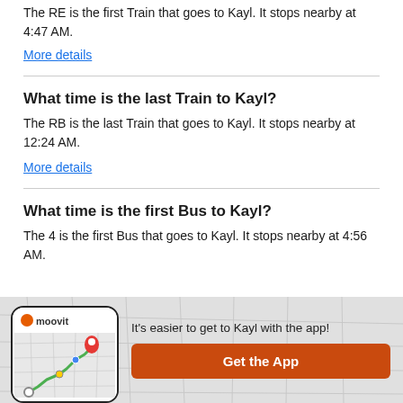The RE is the first Train that goes to Kayl. It stops nearby at 4:47 AM.
More details
What time is the last Train to Kayl?
The RB is the last Train that goes to Kayl. It stops nearby at 12:24 AM.
More details
What time is the first Bus to Kayl?
The 4 is the first Bus that goes to Kayl. It stops nearby at 4:56 AM.
[Figure (screenshot): Moovit app promotional banner showing a phone with a map route and the Moovit logo, with text 'It's easier to get to Kayl with the app!' and an orange 'Get the App' button.]